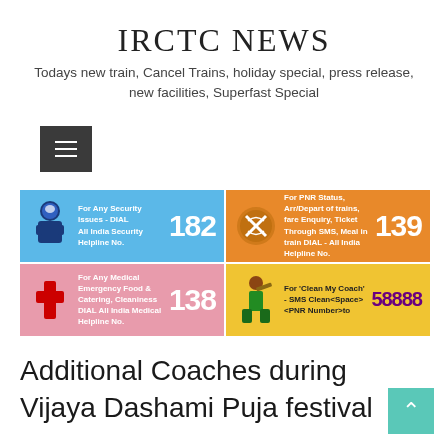IRCTC NEWS
Todays new train, Cancel Trains, holiday special, press release, new facilities, Superfast Special
[Figure (other): Navigation menu hamburger button (dark grey square with three horizontal white lines)]
[Figure (infographic): Four-panel helpline numbers grid: (1) Blue panel - For Any Security Issues - DIAL All India Security Helpline No. 182, with security officer icon; (2) Orange panel - For PNR Status, Arr/Depart of trains, fare Enquiry, Ticket Through SMS, Meal in train DIAL - All India Helpline No. 139, with fork/knife icon; (3) Pink panel - For Any Medical Emergency Food & Catering, Cleaniness DIAL All India Medical Helpline No. 138, with red cross icon; (4) Yellow panel - For 'Clean My Coach' - SMS Clean<Space><PNR Number>to 58888, with cleaning person icon]
Additional Coaches during Vijaya Dashami Puja festival